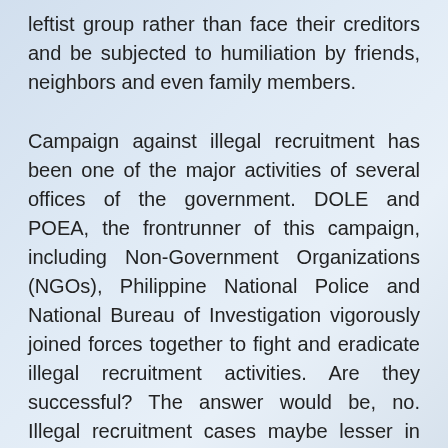leftist group rather than face their creditors and be subjected to humiliation by friends, neighbors and even family members.
Campaign against illegal recruitment has been one of the major activities of several offices of the government. DOLE and POEA, the frontrunner of this campaign, including Non-Government Organizations (NGOs), Philippine National Police and National Bureau of Investigation vigorously joined forces together to fight and eradicate illegal recruitment activities. Are they successful? The answer would be, no. Illegal recruitment cases maybe lesser in numbers as compared in the 80's, but this not necessarily mean illegal recruitment has been eradicated. Illegal recruiters are still